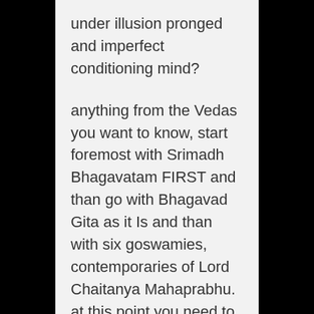under illusion pronged and imperfect conditioning mind?
anything from the Vedas you want to know, start foremost with Srimadh Bhagavatam FIRST and than go with Bhagavad Gita as it Is and than with six goswamies, contemporaries of Lord Chaitanya Mahaprabhu. at this point you need to